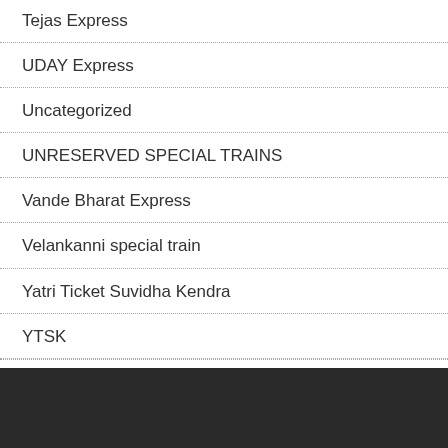Tejas Express
UDAY Express
Uncategorized
UNRESERVED SPECIAL TRAINS
Vande Bharat Express
Velankanni special train
Yatri Ticket Suvidha Kendra
YTSK